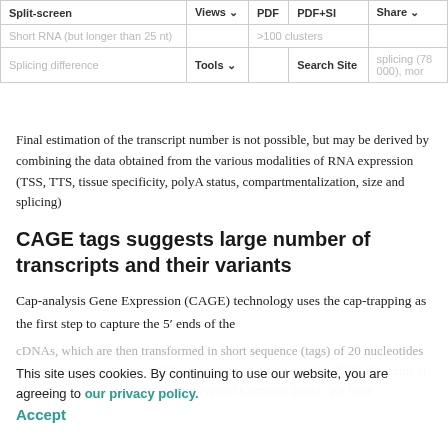| Split-screen | Views | PDF | PDF+SI | Share |
| --- | --- | --- | --- | --- |
| Short RNA (but longer than 25 nt) |  | >100 clusters |  |  |
| Splicing difference | Tools |  | Search Site | splicing (78 000), mor |
Final estimation of the transcript number is not possible, but may be derived by combining the data obtained from the various modalities of RNA expression (TSS, TTS, tissue specificity, polyA status, compartmentalization, size and splicing)
CAGE tags suggests large number of transcripts and their variants
Cap-analysis Gene Expression (CAGE) technology uses the cap-trapping as the first step to capture the 5′ ends of the
cDNAs, which are then transformed in short sequence (tags) of 20 nucleotides (nt) corresponding to the mRNA transcriptional starting sites (TSS)(Kodzius et al., 2006; Shiraki et al., 2003; Harbers and Carninci, 2005). We have
This site uses cookies. By continuing to use our website, you are agreeing to our privacy policy. Accept